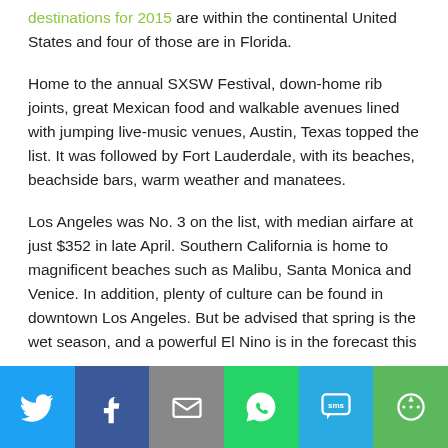destinations for 2015 are within the continental United States and four of those are in Florida.
Home to the annual SXSW Festival, down-home rib joints, great Mexican food and walkable avenues lined with jumping live-music venues, Austin, Texas topped the list. It was followed by Fort Lauderdale, with its beaches, beachside bars, warm weather and manatees.
Los Angeles was No. 3 on the list, with median airfare at just $352 in late April. Southern California is home to magnificent beaches such as Malibu, Santa Monica and Venice. In addition, plenty of culture can be found in downtown Los Angeles. But be advised that spring is the wet season, and a powerful El Nino is in the forecast this
[Figure (infographic): Social media share bar with icons for Twitter, Facebook, Email, WhatsApp, SMS, and More]